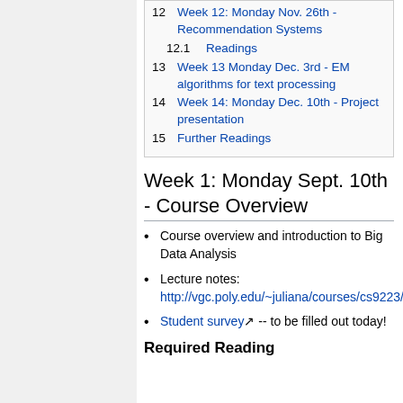12  Week 12: Monday Nov. 26th - Recommendation Systems
12.1  Readings
13  Week 13 Monday Dec. 3rd - EM algorithms for text processing
14  Week 14: Monday Dec. 10th - Project presentation
15  Further Readings
Week 1: Monday Sept. 10th - Course Overview
Course overview and introduction to Big Data Analysis
Lecture notes: http://vgc.poly.edu/~juliana/courses/cs9223/Lectures/intro.pdf
Student survey -- to be filled out today!
Required Reading